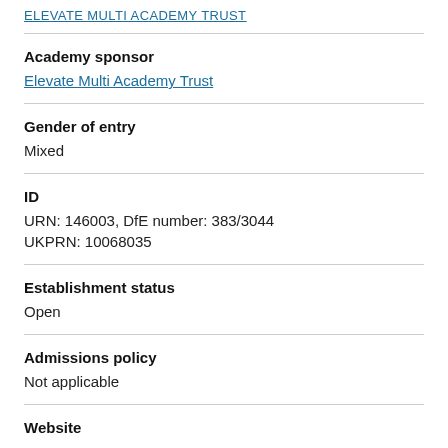ELEVATE MULTI ACADEMY TRUST
Academy sponsor
Elevate Multi Academy Trust
Gender of entry
Mixed
ID
URN: 146003, DfE number: 383/3044
UKPRN: 10068035
Establishment status
Open
Admissions policy
Not applicable
Website